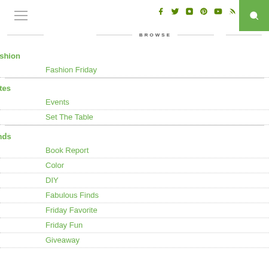BROWSE
Fashion
Fashion Friday
Fêtes
Events
Set The Table
Finds
Book Report
Color
DIY
Fabulous Finds
Friday Favorite
Friday Fun
Giveaway